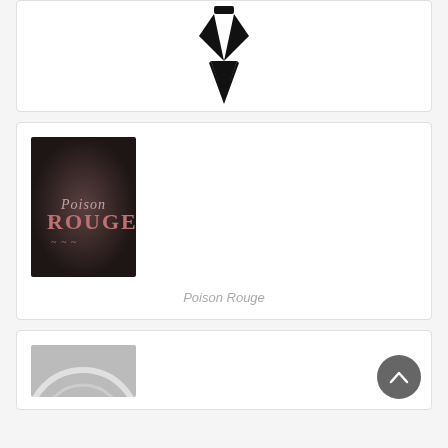[Figure (logo): Black tuxedo/bowtie pointed downward logo on white background]
[Figure (logo): Poison Rouge album art - dark background with pink decorative text reading 'Poison Rouge']
Poison Rouge
[Figure (photo): Partial view of a circular/arc shape on grey background, bottom card partially visible]